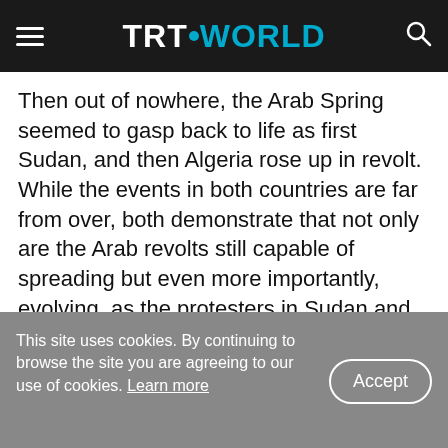TRT WORLD
Then out of nowhere, the Arab Spring seemed to gasp back to life as first Sudan, and then Algeria rose up in revolt. While the events in both countries are far from over, both demonstrate that not only are the Arab revolts still capable of spreading but even more importantly, evolving, as the protesters in Sudan and Algeria are much savvier and wary than their predecessors.
Both Westerners and Arabs, prematurely declared the Arab Spring’s death not only because they
This site uses cookies. By continuing to browse the site you are agreeing to our use of cookies. Learn more